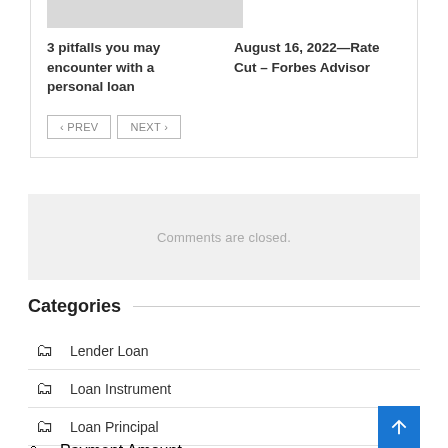3 pitfalls you may encounter with a personal loan
August 16, 2022—Rate Cut – Forbes Advisor
Comments are closed.
Categories
Lender Loan
Loan Instrument
Loan Principal
Payment Amount